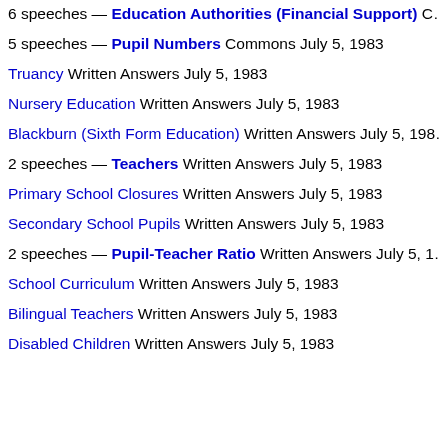6 speeches — Education Authorities (Financial Support) Commons ...
5 speeches — Pupil Numbers Commons July 5, 1983
Truancy Written Answers July 5, 1983
Nursery Education Written Answers July 5, 1983
Blackburn (Sixth Form Education) Written Answers July 5, 1983
2 speeches — Teachers Written Answers July 5, 1983
Primary School Closures Written Answers July 5, 1983
Secondary School Pupils Written Answers July 5, 1983
2 speeches — Pupil-Teacher Ratio Written Answers July 5, 1983
School Curriculum Written Answers July 5, 1983
Bilingual Teachers Written Answers July 5, 1983
Disabled Children Written Answers July 5, 1983